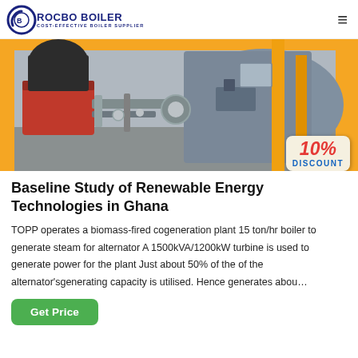ROCBO BOILER — COST-EFFECTIVE BOILER SUPPLIER
[Figure (photo): Industrial biomass-fired boiler equipment with red burner unit, pipes, yellow structural supports and grey cylindrical boiler body]
Baseline Study of Renewable Energy Technologies in Ghana
TOPP operates a biomass-fired cogeneration plant 15 ton/hr boiler to generate steam for alternator A 1500kVA/1200kW turbine is used to generate power for the plant Just about 50% of the of the alternator'sgenerating capacity is utilised. Hence generates abou…
Get Price